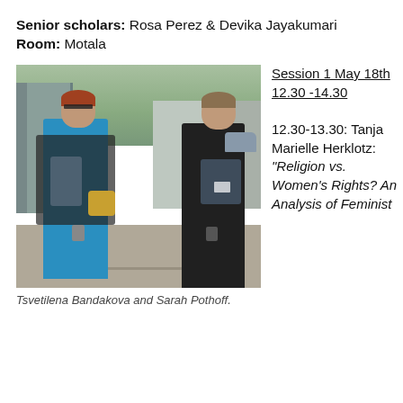Senior scholars: Rosa Perez & Devika Jayakumari
Room: Motala
[Figure (photo): Two women standing outdoors in a courtyard area; one wearing a blue dress and dark jacket with scarf, the other in dark clothing with a scarf. Trees and buildings visible in background.]
Tsvetilena Bandakova and Sarah Pothoff.
Session 1 May 18th 12.30 -14.30
12.30-13.30: Tanja Marielle Herklotz: "Religion vs. Women's Rights? An Analysis of Feminist